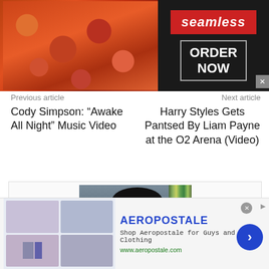[Figure (screenshot): Seamless food delivery banner ad with pizza image on left, red 'seamless' badge and 'ORDER NOW' box with close X button on dark background]
Previous article
Next article
Cody Simpson: “Awake All Night” Music Video
Harry Styles Gets Pantsed By Liam Payne at the O2 Arena (Video)
[Figure (photo): Author photo: Asian woman with glasses, hand on cheek, bookshelf in background, in a card/box with border]
[Figure (screenshot): Aeropostale advertisement banner with brand images, text 'Shop Aeropostale for Guys and Girls Clothing', URL www.aeropostale.com, blue arrow CTA button]